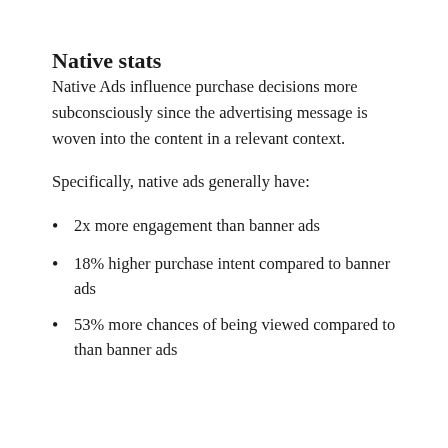Native stats
Native Ads influence purchase decisions more subconsciously since the advertising message is woven into the content in a relevant context.
Specifically, native ads generally have:
2x more engagement than banner ads
18% higher purchase intent compared to banner ads
53% more chances of being viewed compared to than banner ads